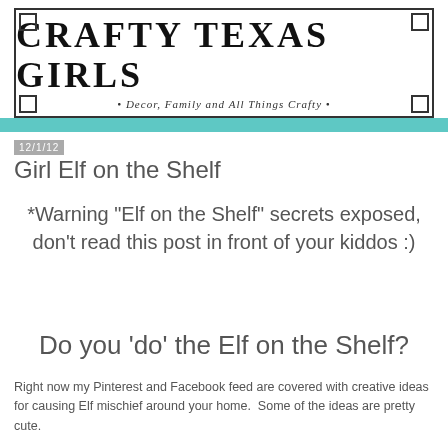[Figure (logo): Crafty Texas Girls blog logo with decorative border. Large uppercase text 'CRAFTY TEXAS GIRLS' with subtitle '• Decor, Family and All Things Crafty •']
12/1/12
Girl Elf on the Shelf
*Warning "Elf on the Shelf" secrets exposed, don't read this post in front of your kiddos :)
Do you 'do' the Elf on the Shelf?
Right now my Pinterest and Facebook feed are covered with creative ideas for causing Elf mischief around your home.  Some of the ideas are pretty cute.